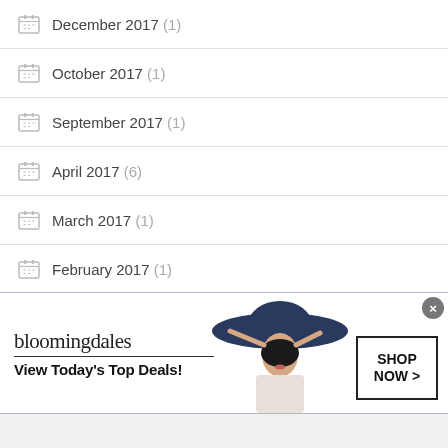December 2017 (1)
October 2017 (1)
September 2017 (1)
April 2017 (6)
March 2017 (1)
February 2017 (1)
February 2016 (1)
December 2015 (1)
[Figure (infographic): Bloomingdales advertisement banner: logo text 'bloomingdales' with tagline 'View Today's Top Deals!' and a model wearing a wide-brim hat, with a SHOP NOW > button on the right. A close X button in top right.]